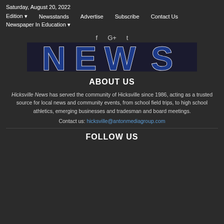Saturday, August 20, 2022
Edition | Newsstands | Advertise | Subscribe | Contact Us
Newspaper In Education
[Figure (logo): Hicksville News logo with large bold blue letters 'NEWS' on dark background with white outline]
ABOUT US
Hicksville News has served the community of Hicksville since 1986, acting as a trusted source for local news and community events, from school field trips, to high school athletics, emerging businesses and tradesman and board meetings.
Contact us: hicksville@antonmediagroup.com
FOLLOW US